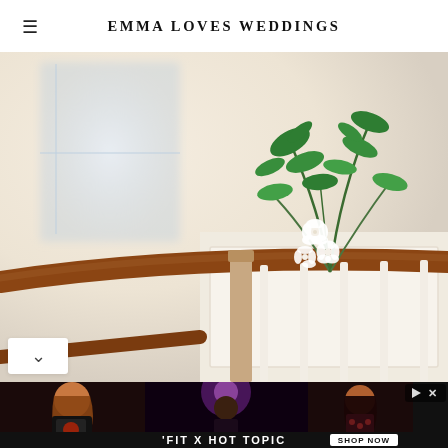EMMA LOVES WEDDINGS
[Figure (photo): Close-up photo of a staircase banister decorated with green leafy branches and white orchid flowers, soft blurred background with warm neutral tones]
[Figure (photo): Advertisement banner for 'FIT X HOT TOPIC' showing three people in dark fashion clothing, with a 'SHOP NOW' button on the right side and ad controls (play triangle and X) in the top right corner]